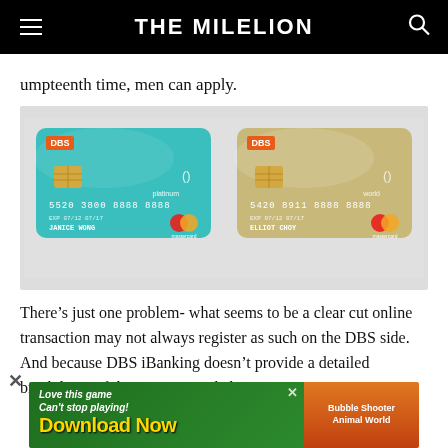THE MILELION
umpteenth time, men can apply.
[Figure (photo): Two DBS Mastercard credit cards side by side on a light grey background. Left card is teal/turquoise (Platinum) with number 5520 3800 8888 8888, name JANICE WONG. Right card is gold/champagne (World) with number 5420 8911 8888 8888, name ELLIOT CHOY. Both show chip, contactless symbol, and Mastercard logo.]
There’s just one problem- what seems to be a clear cut online transaction may not always register as such on the DBS side. And because DBS iBanking doesn’t provide a detailed breakdown of the points awarded
[Figure (other): Advertisement banner: Love this game, Can't stop playing! Download Now. Bubble Shooter Animal World game ad with green background and yellow text.]